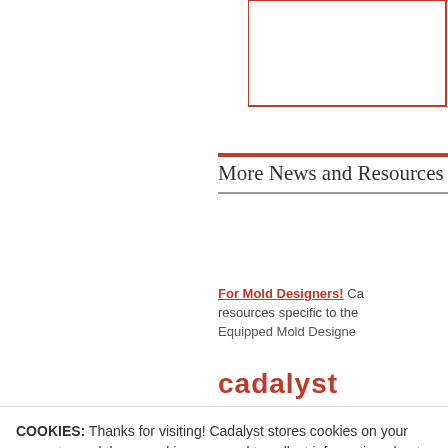[Figure (screenshot): Partial top-right border box element from webpage]
More News and Resources
For Mold Designers! Ca resources specific to the Equipped Mold Designe
[Figure (logo): Cadalyst logo partial]
COOKIES: Thanks for visiting! Cadalyst stores cookies on your computer and these cookies are used to collect information about how you interact with our website and allow us to remember you. We use this information in aggregate to improve and customize your browsing experience and for analytics about our website traffic. To find out more about the cookies we use, see our Privacy Policy.
If you decline we won't track your information when you visit our site but, in order to comply with your preferences, we'll have to use just one tiny cookie so that you're not asked to make this choice again.